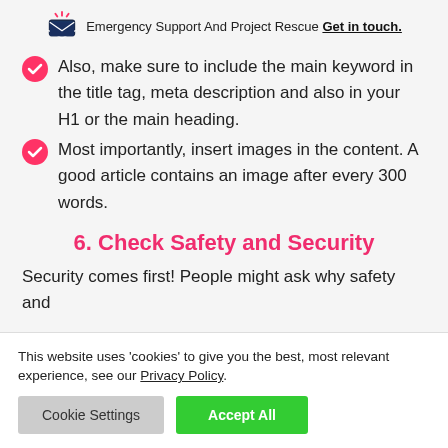Emergency Support And Project Rescue Get in touch.
Also, make sure to include the main keyword in the title tag, meta description and also in your H1 or the main heading.
Most importantly, insert images in the content. A good article contains an image after every 300 words.
6. Check Safety and Security
Security comes first! People might ask why safety and
This website uses 'cookies' to give you the best, most relevant experience, see our Privacy Policy.